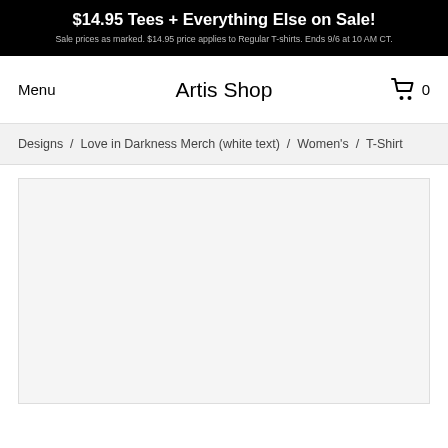$14.95 Tees + Everything Else on Sale! Sale prices as marked. $14.95 price applies to Regular T-shirts. Ends 9/6 at 10 AM CT.
Menu
Artis Shop
0
Designs / Love in Darkness Merch (white text) / Women's / T-Shirt
[Figure (other): Product image area — blank white/light gray rectangle placeholder for a T-shirt product photo]